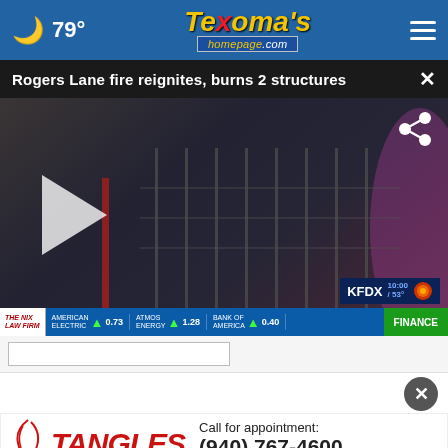79° Texoma's homepage.com
Rogers Lane fire reignites, burns 2 structures
[Figure (screenshot): Video player showing firefighter at fence with smoke, KFDX news channel. Ticker shows: THE NIX LAW FIRM / AMERICAN ELECTRIC 0.73 / ATMOS ENERGY 1.28 / BANK OF AMERICA 0.40 / FINANCE]
[Figure (photo): Advertisement banner for TANGLES In Parker Square salon. Call for appointment: (940) 767-4600]
Call for appointment: (940) 767-4600
[Figure (photo): Bottom strip of another image or content]